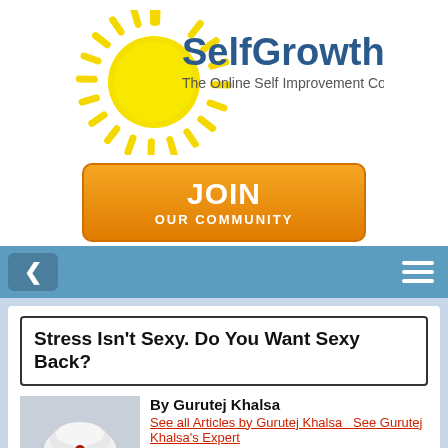[Figure (logo): SelfGrowth.com logo with sun graphic and tagline 'The Online Self Improvement Community']
[Figure (other): Orange JOIN OUR COMMUNITY button]
[Figure (other): Navigation bar with back arrow and hamburger menu on steel blue background]
Stress Isn't Sexy. Do You Want Sexy Back?
[Figure (photo): Photo of Gurutej Khalsa wearing a white turban, smiling]
By Gurutej Khalsa
See all Articles by Gurutej Khalsa  See Gurutej Khalsa's Expert